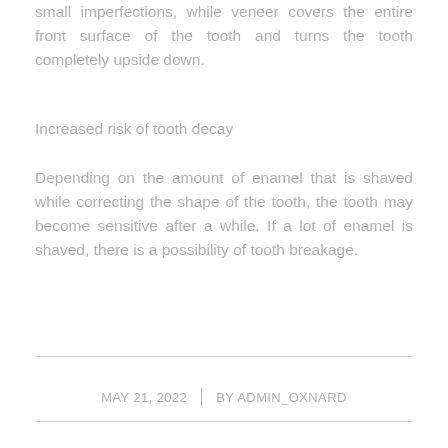small imperfections, while veneer covers the entire front surface of the tooth and turns the tooth completely upside down.
Increased risk of tooth decay
Depending on the amount of enamel that is shaved while correcting the shape of the tooth, the tooth may become sensitive after a while. If a lot of enamel is shaved, there is a possibility of tooth breakage.
MAY 21, 2022 | BY ADMIN_OXNARD